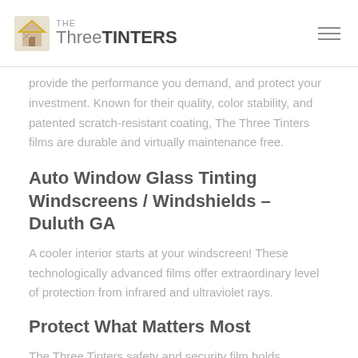The Three TINTERS
provide the performance you demand, and protect your investment. Known for their quality, color stability, and patented scratch-resistant coating, The Three Tinters films are durable and virtually maintenance free.
Auto Window Glass Tinting Windscreens / Windshields – Duluth GA
A cooler interior starts at your windscreen! These technologically advanced films offer extraordinary level of protection from infrared and ultraviolet rays.
Protect What Matters Most
The Three Tinters safety and security film holds shattered glass in place – reducing the likelihood of personal injury in an accident and deterring smash and